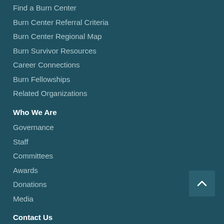Find a Burn Center
Burn Center Referral Criteria
Burn Center Regional Map
Burn Survivor Resources
Career Connections
Burn Fellowships
Related Organizations
Who We Are
Governance
Staff
Committees
Awards
Donations
Media
Contact Us
Join